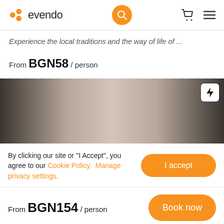[Figure (logo): Evendo logo with orange dots icon and text 'evendo', plus search icon, cart icon, and hamburger menu]
Experience the local traditions and the way of life of ...
From BGN58 / person
[Figure (photo): Gradient banner image ranging from dark brown/charcoal on edges to light beige/cream in the center, with a flash/lightning icon button in the top right corner]
By clicking our site or "I Accept", you agree to our Cookie Policy.  Manage privacy settings.
From BGN154 / person
Book now